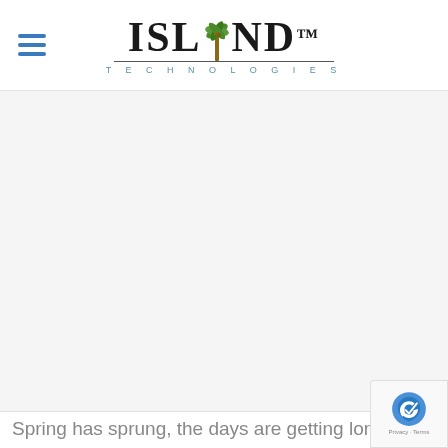[Figure (logo): Island Technologies logo with hamburger menu icon on left. Logo features large bold serif text 'ISLAND' with a palm tree replacing the 'A', a horizontal divider line, and 'TECHNOLOGIES' in spaced small caps below.]
Spring has sprung, the days are getting lon...